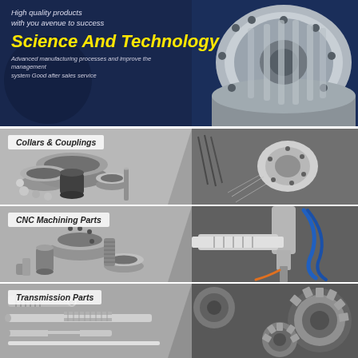[Figure (infographic): Dark blue banner with large industrial gear/motor component on the right, white italic text 'High quality products with you avenue to success', large yellow italic bold heading 'Science And Technology', and small italic white text 'Advanced manufacturing processes and improve the management system Good after sales service']
[Figure (photo): Product section showing 'Collars & Couplings' label over a split image: left side shows various metal collars, rings and couplings; right side shows CNC lathe machining a metal part with metal shavings]
[Figure (photo): Product section showing 'CNC Machining Parts' label over a split image: left side shows various CNC machined metal parts and flanges; right side shows CNC machine spindle/tool in operation]
[Figure (photo): Product section showing 'Transmission Parts' label over a split image: left side shows various transmission shafts and rods; right side shows interlocking metal gears]